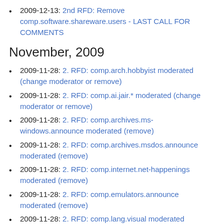2009-12-13: 2nd RFD: Remove comp.software.shareware.users - LAST CALL FOR COMMENTS
November, 2009
2009-11-28: 2. RFD: comp.arch.hobbyist moderated (change moderator or remove)
2009-11-28: 2. RFD: comp.ai.jair.* moderated (change moderator or remove)
2009-11-28: 2. RFD: comp.archives.ms-windows.announce moderated (remove)
2009-11-28: 2. RFD: comp.archives.msdos.announce moderated (remove)
2009-11-28: 2. RFD: comp.internet.net-happenings moderated (remove)
2009-11-28: 2. RFD: comp.emulators.announce moderated (remove)
2009-11-28: 2. RFD: comp.lang.visual moderated (remove)